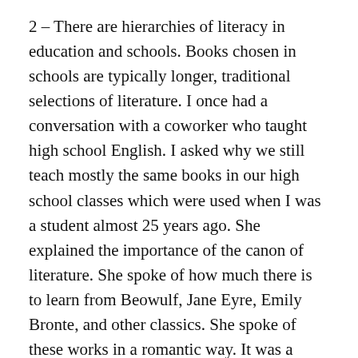2 – There are hierarchies of literacy in education and schools. Books chosen in schools are typically longer, traditional selections of literature. I once had a conversation with a coworker who taught high school English. I asked why we still teach mostly the same books in our high school classes which were used when I was a student almost 25 years ago. She explained the importance of the canon of literature. She spoke of how much there is to learn from Beowulf, Jane Eyre, Emily Bronte, and other classics. She spoke of these works in a romantic way. It was a feeling we did not share. Boy vs. girl.
As Newkirk points out, however, boys tend to